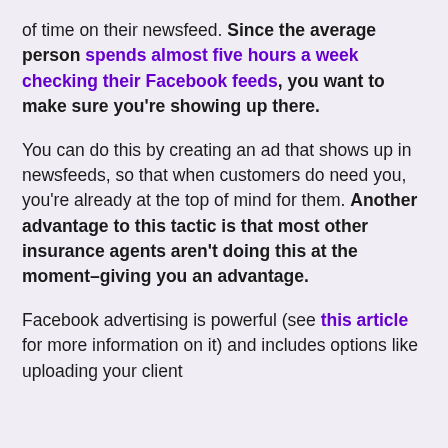of time on their newsfeed. Since the average person spends almost five hours a week checking their Facebook feeds, you want to make sure you're showing up there.
You can do this by creating an ad that shows up in newsfeeds, so that when customers do need you, you're already at the top of mind for them. Another advantage to this tactic is that most other insurance agents aren't doing this at the moment–giving you an advantage.
Facebook advertising is powerful (see this article for more information on it) and includes options like uploading your client